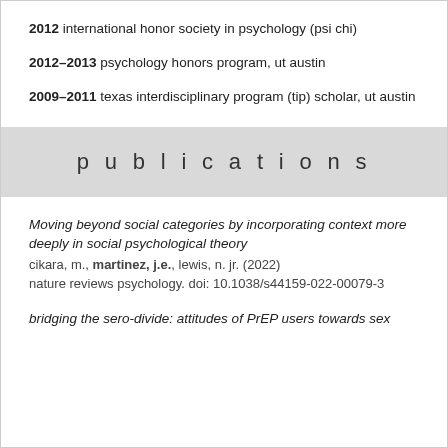2012 international honor society in psychology (psi chi)
2012–2013 psychology honors program, ut austin
2009–2011 texas interdisciplinary program (tip) scholar, ut austin
p u b l i c a t i o n s
Moving beyond social categories by incorporating context more deeply in social psychological theory
cikara, m., martinez, j.e., lewis, n. jr. (2022)
nature reviews psychology. doi: 10.1038/s44159-022-00079-3
bridging the sero-divide: attitudes of PrEP users towards sex